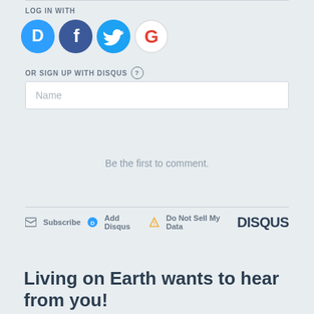LOG IN WITH
[Figure (logo): Four social login icons: Disqus (blue circle with D), Facebook (dark blue circle with f), Twitter (light blue circle with bird), Google (white circle with G)]
OR SIGN UP WITH DISQUS ?
Name
Be the first to comment.
Subscribe  Add Disqus  Do Not Sell My Data  DISQUS
Living on Earth wants to hear from you!